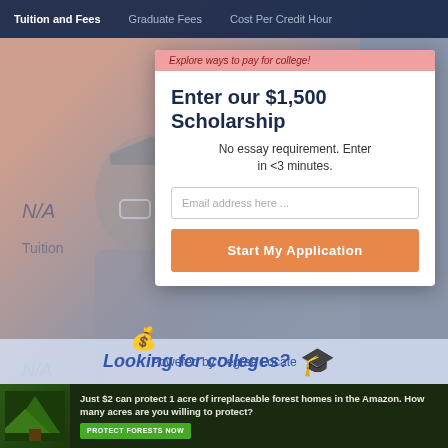Tuition and Fees | Graduate Fees | Cost Per Credit Hour
Enter our $1,500 Scholarship
No essay requirement. Enter in <3 minutes.
Email address here ...
Start My Application
N/A
Tuition
N/A
Cost of Attendance
Looking for colleges?
Powered by Degree Locate
Just $2 can protect 1 acre of irreplaceable forest homes in the Amazon. How many acres are you willing to protect?
PROTECT FORESTS NOW
[Figure (photo): Screenshot of a university tuition and fees webpage with a scholarship popup overlay and a graduating student photo in the background]